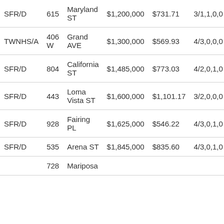| Type | Num | Street | Price | $/SF | Beds/Baths | Days |
| --- | --- | --- | --- | --- | --- | --- |
| SFR/D | 615 | Maryland ST | $1,200,000 | $731.71 | 3/1,1,0,0 | 16 |
| TWNHS/A | 406 W | Grand AVE | $1,300,000 | $569.93 | 4/3,0,0,0 | 22 |
| SFR/D | 804 | California ST | $1,485,000 | $773.03 | 4/2,0,1,0 | 19 |
| SFR/D | 443 | Loma Vista ST | $1,600,000 | $1,101.17 | 3/2,0,0,0 | 14 |
| SFR/D | 928 | Fairing PL | $1,625,000 | $546.22 | 4/3,0,1,0 | 29 |
| SFR/D | 535 | Arena ST | $1,845,000 | $835.60 | 4/3,0,1,0 | 22 |
|  | 728 | Mariposa |  |  |  |  |